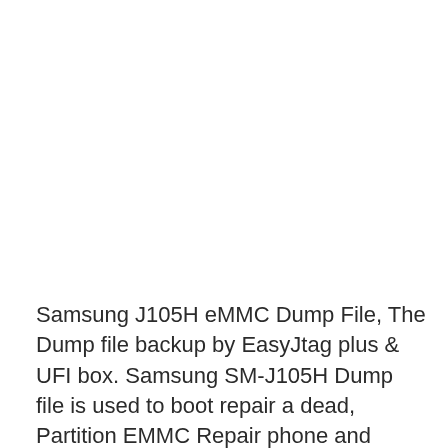Samsung J105H eMMC Dump File, The Dump file backup by EasyJtag plus & UFI box. Samsung SM-J105H Dump file is used to boot repair a dead, Partition EMMC Repair phone and maybe flashed using any of the Boot repair Boxes available on the market.